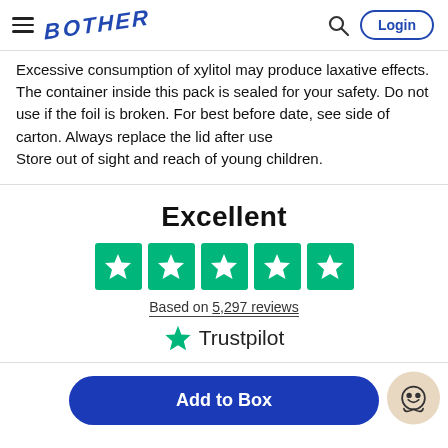BOTHER
Excessive consumption of xylitol may produce laxative effects.
The container inside this pack is sealed for your safety. Do not use if the foil is broken. For best before date, see side of carton. Always replace the lid after use
Store out of sight and reach of young children.
Excellent
[Figure (other): Five green Trustpilot star rating boxes]
Based on 5,297 reviews
[Figure (logo): Trustpilot logo with green star]
Add to Box